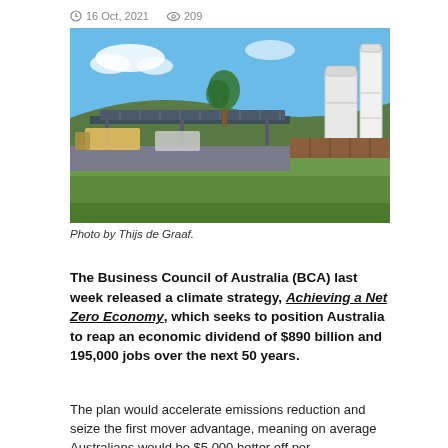16 Oct, 2021   209
[Figure (photo): Outdoor photo showing a hydrogen/solar fueling station with large white cylindrical tanks, solar panels on a canopy structure, green grass, trees, and blue sky.]
Photo by Thijs de Graaf.
The Business Council of Australia (BCA) last week released a climate strategy, Achieving a Net Zero Economy, which seeks to position Australia to reap an economic dividend of $890 billion and 195,000 jobs over the next 50 years.
The plan would accelerate emissions reduction and seize the first mover advantage, meaning on average Australians would be $5,000 better off per